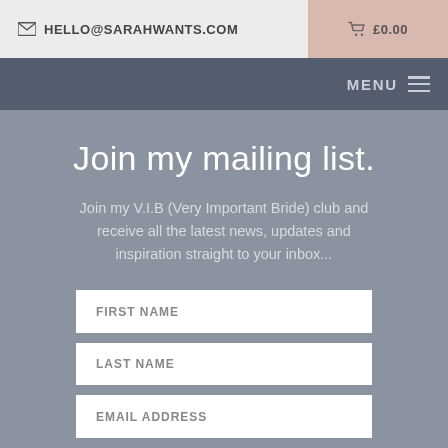✉ HELLO@SARAHWANTS.COM   🛒 £0.00
MENU ≡
Join my mailing list.
Join my V.I.B (Very Important Bride) club and receive all the latest news, updates and inspiration straight to your inbox...
FIRST NAME
LAST NAME
EMAIL ADDRESS